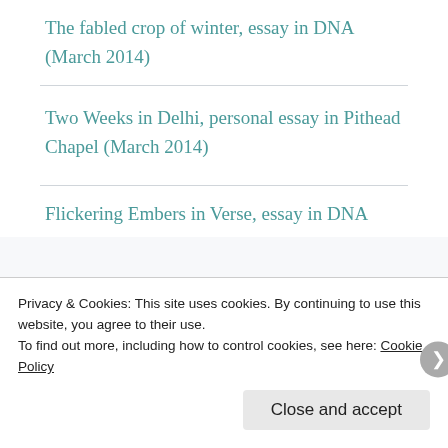The fabled crop of winter, essay in DNA (March 2014)
Two Weeks in Delhi, personal essay in Pithead Chapel (March 2014)
Flickering Embers in Verse, essay in DNA
Privacy & Cookies: This site uses cookies. By continuing to use this website, you agree to their use.
To find out more, including how to control cookies, see here: Cookie Policy
Close and accept